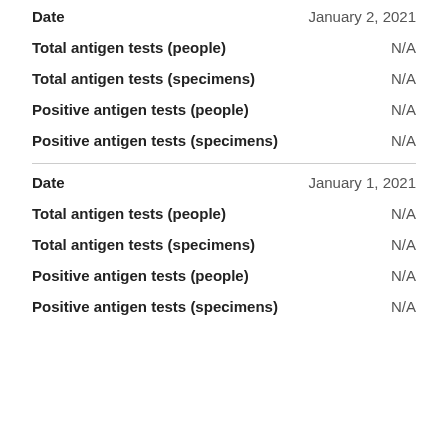| Field | Value |
| --- | --- |
| Date | January 2, 2021 |
| Total antigen tests (people) | N/A |
| Total antigen tests (specimens) | N/A |
| Positive antigen tests (people) | N/A |
| Positive antigen tests (specimens) | N/A |
| Date | January 1, 2021 |
| Total antigen tests (people) | N/A |
| Total antigen tests (specimens) | N/A |
| Positive antigen tests (people) | N/A |
| Positive antigen tests (specimens) | N/A |